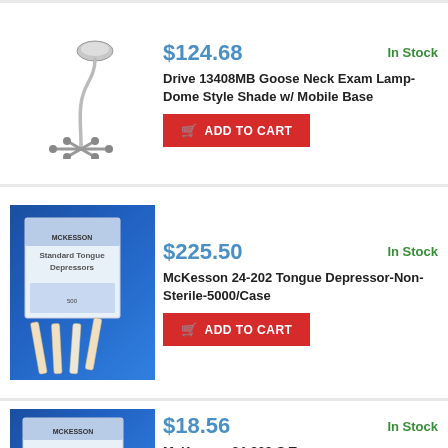[Figure (photo): Drive 13408MB Goose Neck Exam Lamp on mobile base with dome shade]
$124.68
In Stock
Drive 13408MB Goose Neck Exam Lamp-Dome Style Shade w/ Mobile Base
ADD TO CART
[Figure (photo): McKesson Standard Tongue Depressors box with loose tongue depressors in front on blue background]
$225.50
In Stock
McKesson 24-202 Tongue Depressor-Non-Sterile-5000/Case
ADD TO CART
[Figure (photo): McKesson 24-202-S Tongue Depressor box on blue background]
$18.56
In Stock
McKesson 24-202-S Tongue